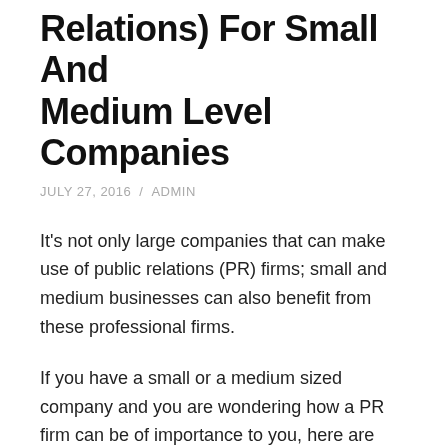Relations) For Small And Medium Level Companies
JULY 27, 2016  /  ADMIN
It's not only large companies that can make use of public relations (PR) firms; small and medium businesses can also benefit from these professional firms.
If you have a small or a medium sized company and you are wondering how a PR firm can be of importance to you, here are some of the benefits that come with Public relations:
Create a positive Image
A PR firm not only promotes your business, but also puts your business in the limelight. This plays a major role in